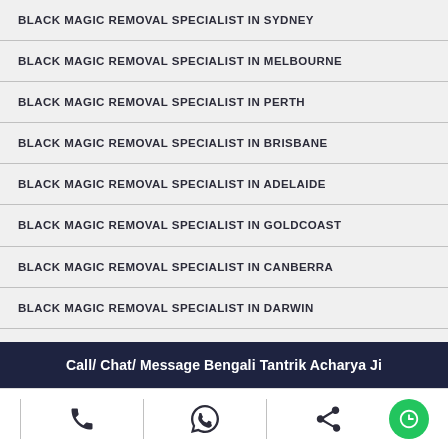BLACK MAGIC REMOVAL SPECIALIST IN SYDNEY
BLACK MAGIC REMOVAL SPECIALIST IN MELBOURNE
BLACK MAGIC REMOVAL SPECIALIST IN PERTH
BLACK MAGIC REMOVAL SPECIALIST IN BRISBANE
BLACK MAGIC REMOVAL SPECIALIST IN ADELAIDE
BLACK MAGIC REMOVAL SPECIALIST IN GOLDCOAST
BLACK MAGIC REMOVAL SPECIALIST IN CANBERRA
BLACK MAGIC REMOVAL SPECIALIST IN DARWIN
BLACK MAGIC REMOVAL SPECIALIST IN HOBART
Call/ Chat/ Message Bengali Tantrik Acharya Ji